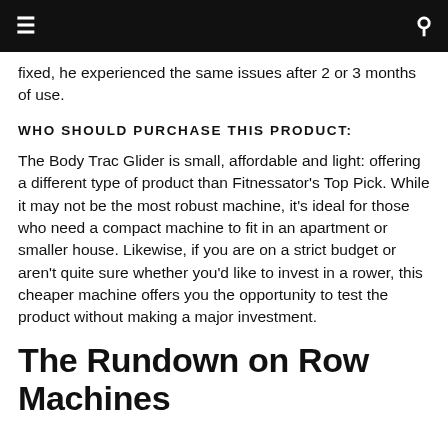≡  🔍
fixed, he experienced the same issues after 2 or 3 months of use.
WHO SHOULD PURCHASE THIS PRODUCT:
The Body Trac Glider is small, affordable and light: offering a different type of product than Fitnessator's Top Pick. While it may not be the most robust machine, it's ideal for those who need a compact machine to fit in an apartment or smaller house. Likewise, if you are on a strict budget or aren't quite sure whether you'd like to invest in a rower, this cheaper machine offers you the opportunity to test the product without making a major investment.
The Rundown on Row Machines